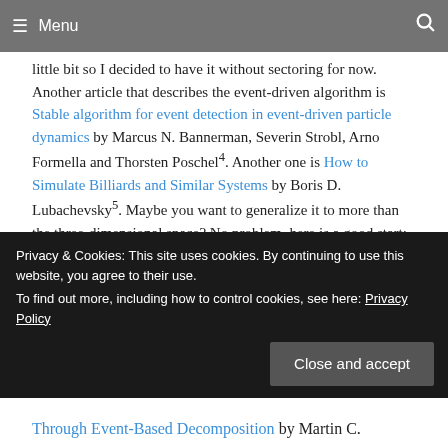Menu
little bit so I decided to have it without sectoring for now. Another article that describes the event-driven algorithm is Stable algorithm for event detection in event-driven particle dynamics by Marcus N. Bannerman, Severin Strobl, Arno Formella and Thorsten Poschel4. Another one is How to Simulate Billiards and Similar Systems by Boris D. Lubachevsky5. Maybe you want to generalize it to more than the three-dimensional space? No problem, here is a good start: Packing hyperspheres in high-dimensional Euclidean spaces by Monica Skoge, Aleksandar Donev, Frank H. Stillinger, and Salvatore Torquato6. I think there is some source code...
Privacy & Cookies: This site uses cookies. By continuing to use this website, you agree to their use.
To find out more, including how to control cookies, see here: Privacy Policy
Through Event-Based Decomposition by Martin C.